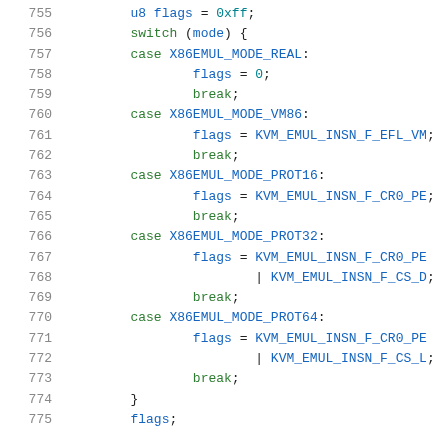Code snippet showing C switch statement for x86 emulation mode flags, lines 755-775